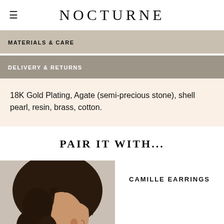NOCTURNE
MATERIALS & CARE
DELIVERY & RETURNS
18K Gold Plating, Agate (semi-precious stone), shell pearl, resin, brass, cotton.
PAIR IT WITH...
[Figure (photo): Side profile of a woman with curly dark hair wearing gold earrings]
CAMILLE EARRINGS